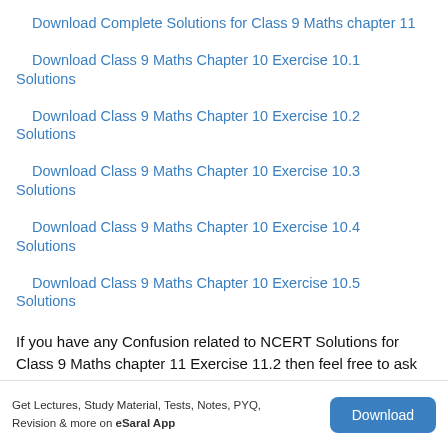Download Complete Solutions for Class 9 Maths chapter 11
Download Class 9 Maths Chapter 10 Exercise 10.1 Solutions
Download Class 9 Maths Chapter 10 Exercise 10.2 Solutions
Download Class 9 Maths Chapter 10 Exercise 10.3 Solutions
Download Class 9 Maths Chapter 10 Exercise 10.4 Solutions
Download Class 9 Maths Chapter 10 Exercise 10.5 Solutions
If you have any Confusion related to NCERT Solutions for Class 9 Maths chapter 11 Exercise 11.2 then feel free to ask
Get Lectures, Study Material, Tests, Notes, PYQ, Revision & more on eSaral App  [Download]